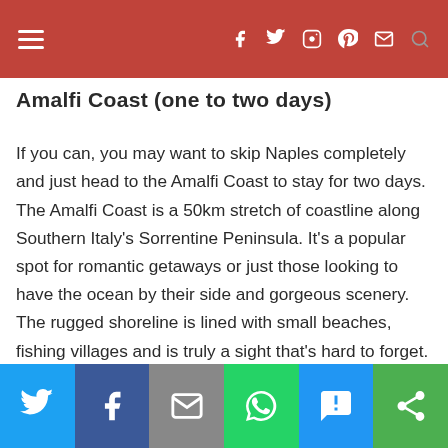Navigation bar with hamburger menu and social icons
Amalfi Coast (one to two days)
If you can, you may want to skip Naples completely and just head to the Amalfi Coast to stay for two days. The Amalfi Coast is a 50km stretch of coastline along Southern Italy's Sorrentine Peninsula. It's a popular spot for romantic getaways or just those looking to have the ocean by their side and gorgeous scenery. The rugged shoreline is lined with small beaches, fishing villages and is truly a sight that's hard to forget. You can opt for a day trip from Naples, but I'd recommend taking the train or driving to Amalfi and either exploring on your own or staying there for a couple of days if you have the flexibility. Here is a great guide on how
Share bar: Twitter, Facebook, Email, WhatsApp, SMS, More